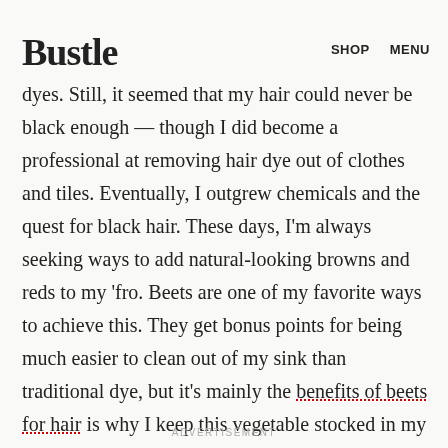Bustle | SHOP  MENU
in my hair. I constantly dyed my hair at home with from Manic Panic to at home permanent dyes. Still, it seemed that my hair could never be black enough — though I did become a professional at removing hair dye out of clothes and tiles. Eventually, I outgrew chemicals and the quest for black hair. These days, I'm always seeking ways to add natural-looking browns and reds to my 'fro. Beets are one of my favorite ways to achieve this. They get bonus points for being much easier to clean out of my sink than traditional dye, but it's mainly the benefits of beets for hair is why I keep this vegetable stocked in my fridge.
ADVERTISEMENT